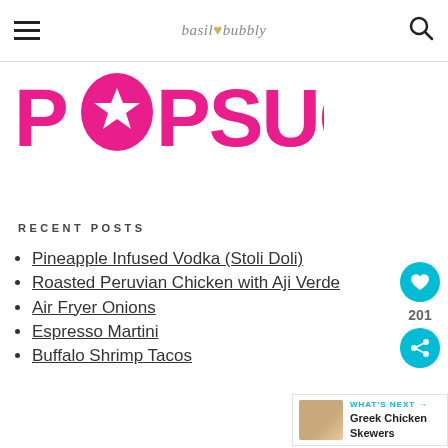basil♥bubbly
[Figure (logo): POPSUGAR logo in bold pink text with a star replacing the O in POP]
RECENT POSTS
Pineapple Infused Vodka (Stoli Doli)
Roasted Peruvian Chicken with Aji Verde
Air Fryer Onions
Espresso Martini
Buffalo Shrimp Tacos